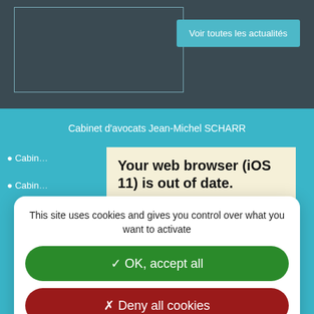[Figure (screenshot): Dark gray background header area of a French law firm website]
Voir toutes les actualités
Cabinet d'avocats Jean-Michel SCHARR
• Cabin… Tél : 06 68
• Cabin… - Tél : 01
Your web browser (iOS 11) is out of date.
This site uses cookies and gives you control over what you want to activate
✓ OK, accept all
✗ Deny all cookies
Personalize